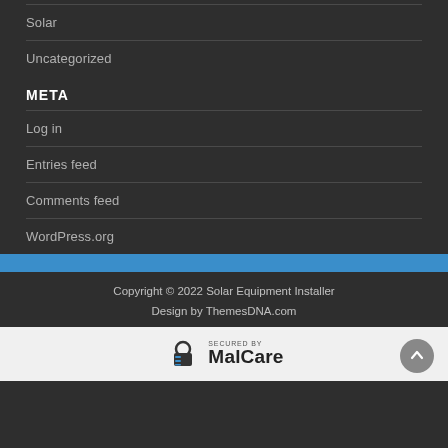Solar
Uncategorized
META
Log in
Entries feed
Comments feed
WordPress.org
Copyright © 2022 Solar Equipment Installer
Design by ThemesDNA.com
[Figure (logo): SECURED by MalCare logo with shield/lock icon]